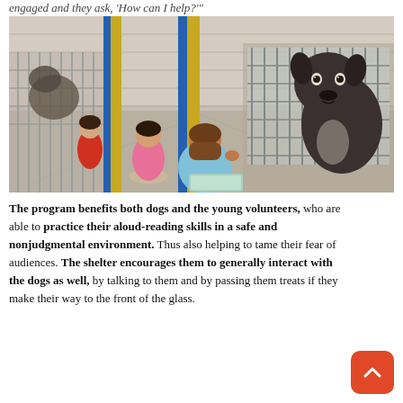engaged and they ask, 'How can I help?'"
[Figure (photo): Children sitting on the floor of an animal shelter reading to dogs in kennels. One child in a blue shirt is reading from a book in front of a kennel with a dog looking through the glass. Another child in a pink shirt and a child in a red shirt are visible further down the hallway.]
The program benefits both dogs and the young volunteers, who are able to practice their aloud-reading skills in a safe and nonjudgmental environment. Thus also helping to tame their fear of audiences. The shelter encourages them to generally interact with the dogs as well, by talking to them and by passing them treats if they make their way to the front of the glass.